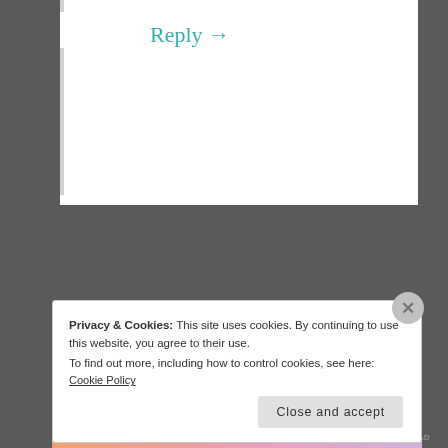Reply →
Pingback: Going Old School Update | Randomly Yours
Privacy & Cookies: This site uses cookies. By continuing to use this website, you agree to their use.
To find out more, including how to control cookies, see here:
Cookie Policy
Close and accept